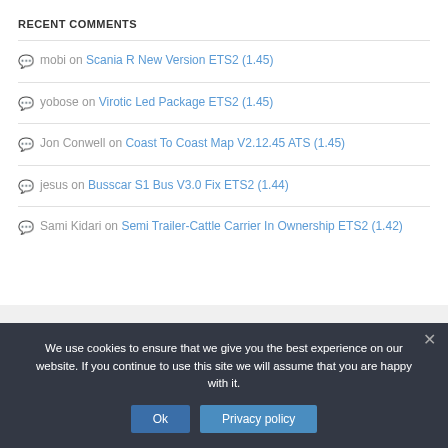RECENT COMMENTS
mobi on Scania R New Version ETS2 (1.45)
yobose on Virotic Led Package ETS2 (1.45)
Jon Conwell on Coast To Coast Map V2.12.45 ATS (1.45)
jesus on Busscar S1 Bus V3.0 Fix ETS2 (1.44)
Sami Kidari on Semi Trailer-Cattle Carrier In Ownership ETS2 (1.42)
We use cookies to ensure that we give you the best experience on our website. If you continue to use this site we will assume that you are happy with it.